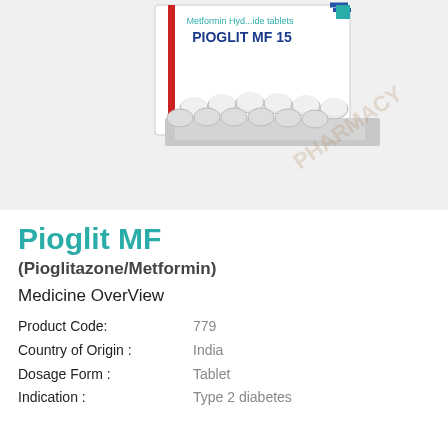[Figure (photo): Photograph of Pioglit MF 15 medicine box with blister pack of white tablets in front, watermark text PHARMACY visible]
Pioglit MF
(Pioglitazone/Metformin)
Medicine OverView
| Field | Value |
| --- | --- |
| Product Code: | 779 |
| Country of Origin : | India |
| Dosage Form : | Tablet |
| Indication : | Type 2 diabetes |